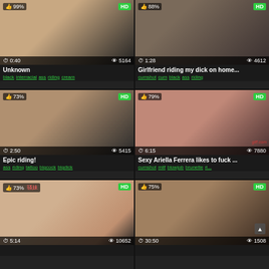[Figure (screenshot): Video thumbnail grid with 6 adult video thumbnails, titles, tags, view counts, durations, and HD badges]
Unknown
black interracial ass riding cream
Girlfriend riding my dick on home...
cumshot cum black ass riding
Epic riding!
ass riding tattoo bigcock bigdick
Sexy Ariella Ferrera likes to fuck ...
cumshot milf blowjob brunette ri...